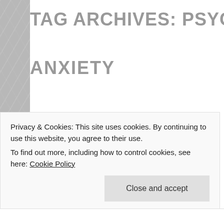TAG ARCHIVES: PSYCHO
ANXIETY
Lose Yourself in the Mus… Moment: Memories of a
Privacy & Cookies: This site uses cookies. By continuing to use this website, you agree to their use.
To find out more, including how to control cookies, see here: Cookie Policy
Close and accept